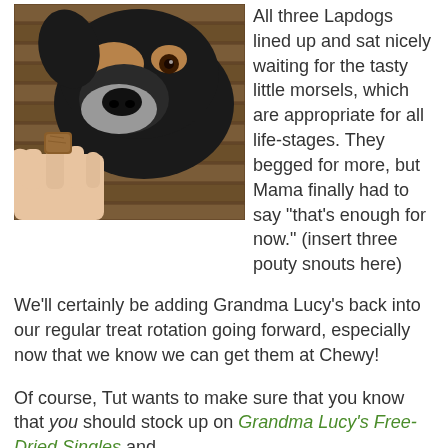[Figure (photo): A photo of a black and tan dog (seen from above) being offered a small brown treat by a human hand, on a wooden deck background.]
All three Lapdogs lined up and sat nicely waiting for the tasty little morsels, which are appropriate for all life-stages.  They begged for more, but Mama finally had to say "that's enough for now."  (insert three pouty snouts here)
We'll certainly be adding Grandma Lucy's back into our regular treat rotation going forward, especially now that we know we can get them at Chewy!
Of course, Tut wants to make sure that you know that you should stock up on Grandma Lucy's Free-Dried Singles and